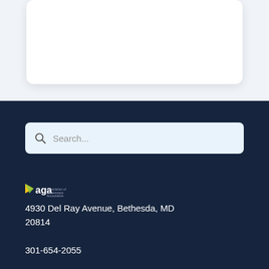[Figure (screenshot): White rounded card on light gray background at top of page]
[Figure (screenshot): Search bar with magnifying glass icon and 'Search...' placeholder text on dark navy background]
[Figure (logo): AGA (Association of Government Accountants) logo with triangle/play button icon in yellow/green and 'aga' text]
4930 Del Ray Avenue, Bethesda, MD 20814
301-654-2055